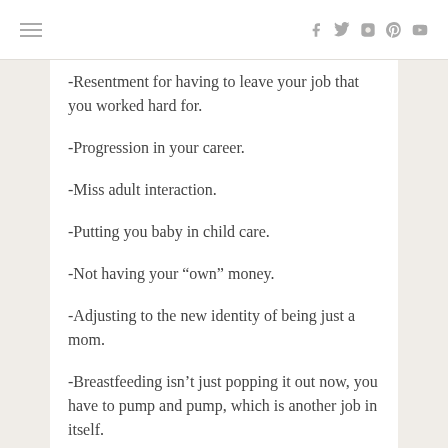[hamburger menu] [social icons: f, twitter, instagram, pinterest, youtube]
-Resentment for having to leave your job that you worked hard for.
-Progression in your career.
-Miss adult interaction.
-Putting you baby in child care.
-Not having your “own” money.
-Adjusting to the new identity of being just a mom.
-Breastfeeding isn’t just popping it out now, you have to pump and pump, which is another job in itself.